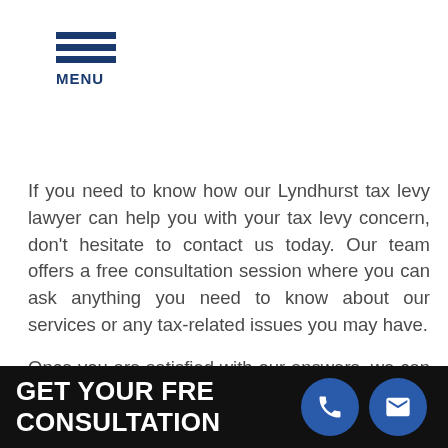[Figure (other): Hamburger menu icon with three blue horizontal bars and the label MENU]
If you need to know how our Lyndhurst tax levy lawyer can help you with your tax levy concern, don't hesitate to contact us today. Our team offers a free consultation session where you can ask anything you need to know about our services or any tax-related issues you may have.
Once you are satisfied with our answers, we can immediately tackle the case and present the best options we can take to resolve the tax levy or the other tax issues you may have.
Call Defense Tax Partners at (804) 570-1403 for your Free Consultation with a Lyndhurst Tax Levy Lawyer!
[Figure (infographic): Black banner with white bold text reading GET YOUR FREE CONSULTATION with phone and email icon circles]